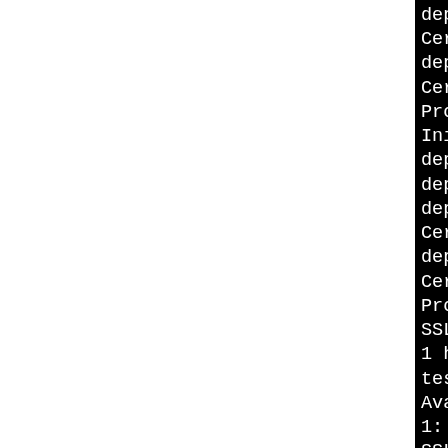[Figure (screenshot): Terminal/console output showing SSL/TLS certificate proxy rights checks and handshake test results. White area on left, black terminal on right side showing monospace white text on black background. Text is partially cut off on the right edge.]